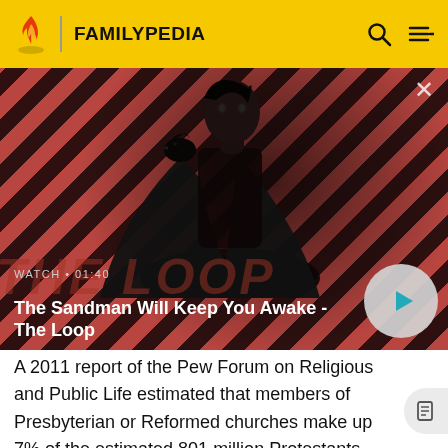FAMILYPEDIA
[Figure (screenshot): Video thumbnail showing a dark-robed figure with a crow on their shoulder against a red and black diagonal stripe background. Title overlay: 'The Sandman Will Keep You Awake - The Loop'. Watch duration: 01:40. Play button visible.]
A 2011 report of the Pew Forum on Religious and Public Life estimated that members of Presbyterian or Reformed churches make up 7% of the estimated 801 million Protestants globally, or approximately 56 million people.[19] Though the broadly defined Reformed faith is much larger, as it constitutes Congregationalist (0.5%)